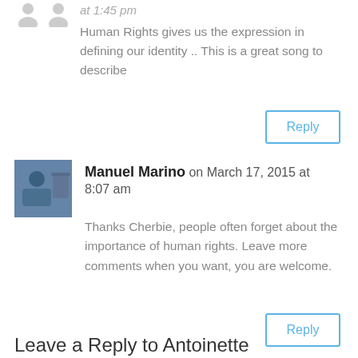at 1:45 pm
Human Rights gives us the expression in defining our identity .. This is a great song to describe
Reply
Manuel Marino on March 17, 2015 at 8:07 am
Thanks Cherbie, people often forget about the importance of human rights. Leave more comments when you want, you are welcome.
Reply
Leave a Reply to Antoinette